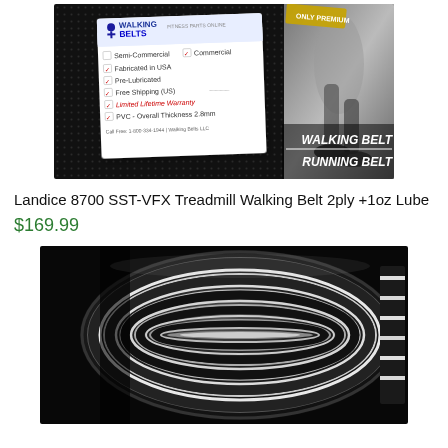[Figure (photo): Treadmill walking belt rolled out showing Walking Belts brand label with checklist of features including Semi-Commercial, Commercial, Fabricated in USA, Pre-Lubricated, Free Shipping (US), Limited Lifetime Warranty, PVC Overall Thickness 2.8mm, on a dark textured belt surface. Right side shows running shoe photo with text WALKING BELT RUNNING BELT.]
Landice 8700 SST-VFX Treadmill Walking Belt 2ply +1oz Lube
$169.99
[Figure (photo): Close-up photo of a rolled treadmill belt showing the layered cross-section construction with black outer surface and white inner layers, rolled tightly showing the 2-ply construction.]